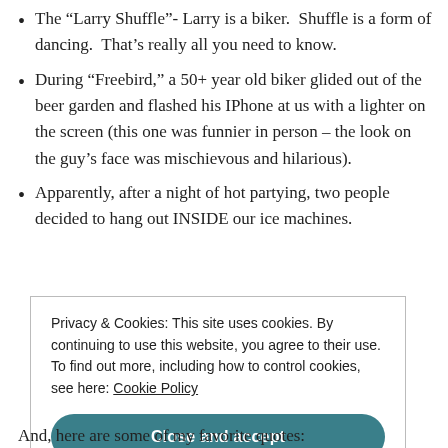The “Larry Shuffle”- Larry is a biker. Shuffle is a form of dancing. That’s really all you need to know.
During “Freebird,” a 50+ year old biker glided out of the beer garden and flashed his IPhone at us with a lighter on the screen (this one was funnier in person – the look on the guy’s face was mischievous and hilarious).
Apparently, after a night of hot partying, two people decided to hang out INSIDE our ice machines.
Privacy & Cookies: This site uses cookies. By continuing to use this website, you agree to their use. To find out more, including how to control cookies, see here: Cookie Policy
Close and accept
And, here are some of my favorite quotes: